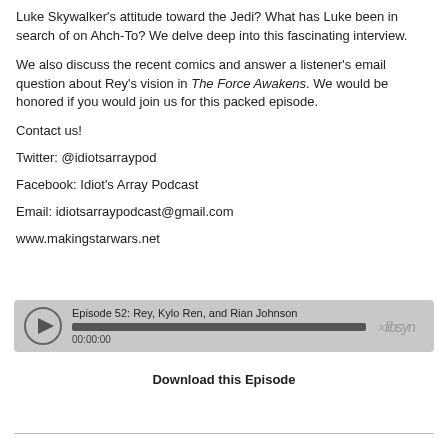Luke Skywalker's attitude toward the Jedi? What has Luke been in search of on Ahch-To? We delve deep into this fascinating interview.
We also discuss the recent comics and answer a listener's email question about Rey's vision in The Force Awakens. We would be honored if you would join us for this packed episode.
Contact us!
Twitter: @idiotsarraypod
Facebook: Idiot's Array Podcast
Email: idiotsarraypodcast@gmail.com
www.makingstarwars.net
[Figure (other): Libsyn podcast player widget showing Episode 52: Rey, Kylo Ren, and Rian Johnson with play button, progress bar, timestamp 00:00:00, and Libsyn logo]
Download this Episode